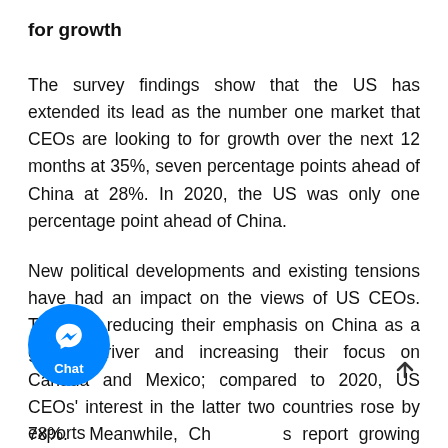for growth
The survey findings show that the US has extended its lead as the number one market that CEOs are looking to for growth over the next 12 months at 35%, seven percentage points ahead of China at 28%. In 2020, the US was only one percentage point ahead of China.
New political developments and existing tensions have had an impact on the views of US CEOs. They are reducing their emphasis on China as a growth driver and increasing their focus on Canada and Mexico; compared to 2020, US CEOs' interest in the latter two countries rose by 78%. Meanwhile, Ch[...]s report growing interest in large economies such as the US, Germany, and Japan — prime destinations exports.